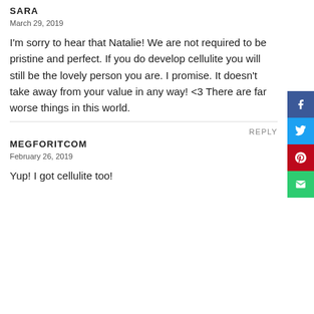SARA
March 29, 2019
I'm sorry to hear that Natalie! We are not required to be pristine and perfect. If you do develop cellulite you will still be the lovely person you are. I promise. It doesn't take away from your value in any way! <3 There are far worse things in this world.
REPLY
MEGFORITCOM
February 26, 2019
Yup! I got cellulite too!